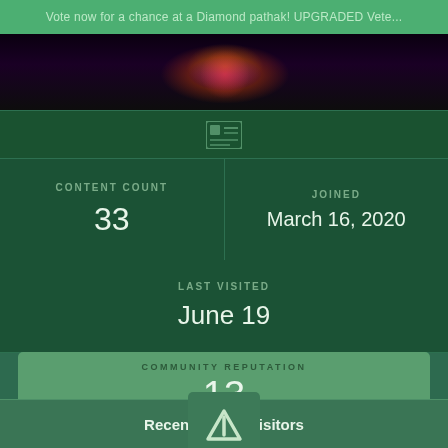Vote now for a chance at a Diamond pathak! UPGRADED Vete...
[Figure (photo): Dark banner image with colorful stage lighting, partial figure visible]
[Figure (other): Profile card icon (grid/ID card icon)]
| CONTENT COUNT | JOINED |
| --- | --- |
| 33 | March 16, 2020 |
LAST VISITED
June 19
COMMUNITY REPUTATION
13
Okay
[Figure (illustration): Three pixel-art game armor/equipment icons: gauntlet, chest plate, leggings]
Recent Profile Visitors